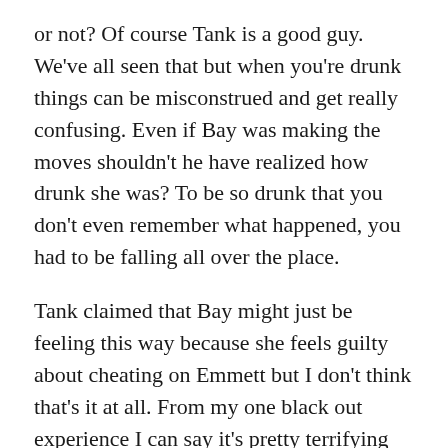or not? Of course Tank is a good guy. We've all seen that but when you're drunk things can be misconstrued and get really confusing. Even if Bay was making the moves shouldn't he have realized how drunk she was? To be so drunk that you don't even remember what happened, you had to be falling all over the place.
Tank claimed that Bay might just be feeling this way because she feels guilty about cheating on Emmett but I don't think that's it at all. From my one black out experience I can say it's pretty terrifying waking up and not knowing what happened to you, and I definitely don't recommend it. Trying to piece together what really happened to her is probably Bay's top priority right now, and she has every right to feel concerned.